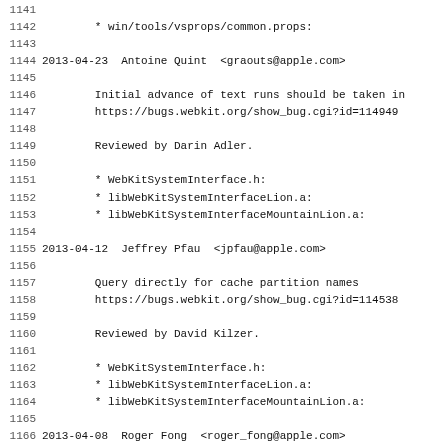Source code changelog lines 1141-1172
1141 (blank)
1142     * win/tools/vsprops/common.props:
1143 (blank)
1144 2013-04-23  Antoine Quint  <graouts@apple.com>
1145 (blank)
1146         Initial advance of text runs should be taken in
1147         https://bugs.webkit.org/show_bug.cgi?id=114949
1148 (blank)
1149         Reviewed by Darin Adler.
1150 (blank)
1151         * WebKitSystemInterface.h:
1152         * libWebKitSystemInterfaceLion.a:
1153         * libWebKitSystemInterfaceMountainLion.a:
1154 (blank)
1155 2013-04-12  Jeffrey Pfau  <jpfau@apple.com>
1156 (blank)
1157         Query directly for cache partition names
1158         https://bugs.webkit.org/show_bug.cgi?id=114538
1159 (blank)
1160         Reviewed by David Kilzer.
1161 (blank)
1162         * WebKitSystemInterface.h:
1163         * libWebKitSystemInterfaceLion.a:
1164         * libWebKitSystemInterfaceMountainLion.a:
1165 (blank)
1166 2013-04-08  Roger Fong  <roger_fong@apple.com>
1167 (blank)
1168         Build fix.
1169 (blank)
1170         * win/include/WebKitSystemInterface/WebKitSyste
1171         * win/lib/WebKitSystemInterface.lib:
1172 (blank)
1173 2013-04-11  ...